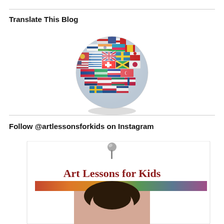Translate This Blog
[Figure (illustration): A globe made up of colorful international flags from various countries, displayed as a 3D sphere.]
Follow @artlessonsforkids on Instagram
[Figure (screenshot): Instagram profile preview for @artlessonsforkids showing a pin/thumbtack graphic, 'Art Lessons for Kids' text in red serif font, a colorful banner strip, and a partial photo of a woman with dark hair.]